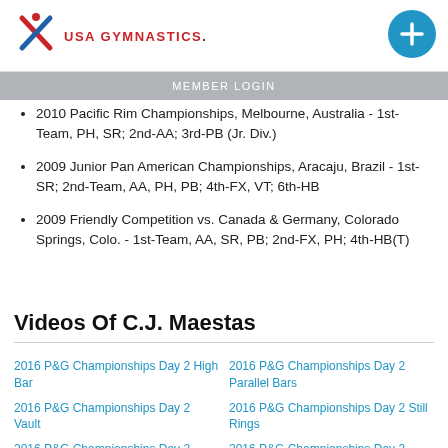USA GYMNASTICS
MEMBER LOGIN
2010 Pacific Rim Championships, Melbourne, Australia - 1st-Team, PH, SR; 2nd-AA; 3rd-PB (Jr. Div.)
2009 Junior Pan American Championships, Aracaju, Brazil - 1st-SR; 2nd-Team, AA, PH, PB; 4th-FX, VT; 6th-HB
2009 Friendly Competition vs. Canada & Germany, Colorado Springs, Colo. - 1st-Team, AA, SR, PB; 2nd-FX, PH; 4th-HB(T)
Videos Of C.J. Maestas
2016 P&G Championships Day 2 High Bar
2016 P&G Championships Day 2 Parallel Bars
2016 P&G Championships Day 2 Vault
2016 P&G Championships Day 2 Still Rings
2016 P&G Championships Day 2 Pommel Horse
2016 P&G Championships Day 2 Floor Exercise